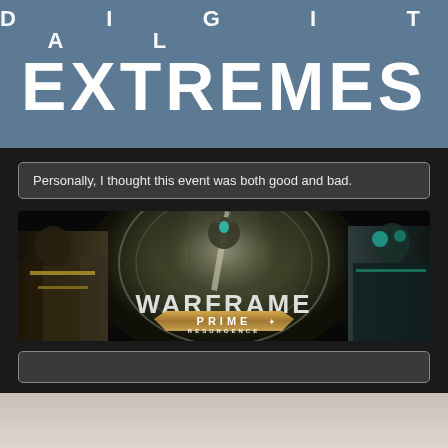[Figure (logo): Digital Extremes logo on blue-grey background, showing 'DIGITAL' in smaller text above large bold 'EXTREMES' text in white on a steel blue banner]
Personally, I thought this event was both good and bad.
[Figure (illustration): Warframe Prime Resurgence promotional banner showing three armored characters with 'WARFRAME' title and 'PRIME RESURGENCE' badge on a hexagonal gold emblem]
[Figure (other): Empty grey input/text box below the Warframe banner]
[Figure (other): Light grey/beige strip at the bottom of the page]